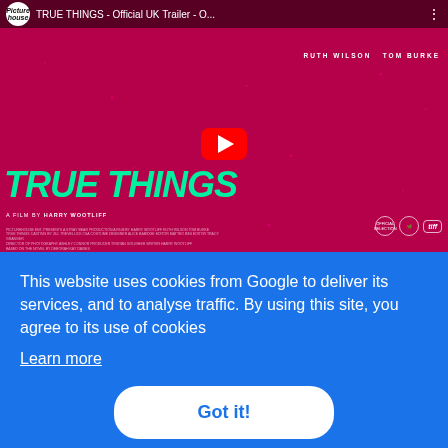[Figure (screenshot): YouTube embedded video thumbnail for 'TRUE THINGS - Official UK Trailer' by Picturehouse. Shows movie poster with Ruth Wilson in red floral dress against pink flower background, large teal 'TRUE THINGS' title text, director credit 'A FILM BY HARRY WOOTLIFF', red YouTube play button in center.]
This website uses cookies from Google to deliver its services, and to analyse traffic. By using this site, you agree to its use of cookies
Learn more
Got it!